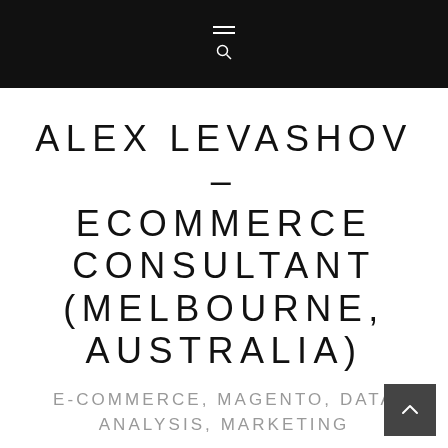Navigation bar with hamburger menu and search icon
ALEX LEVASHOV – ECOMMERCE CONSULTANT (MELBOURNE, AUSTRALIA)
E-COMMERCE, MAGENTO, DATA ANALYSIS, MARKETING